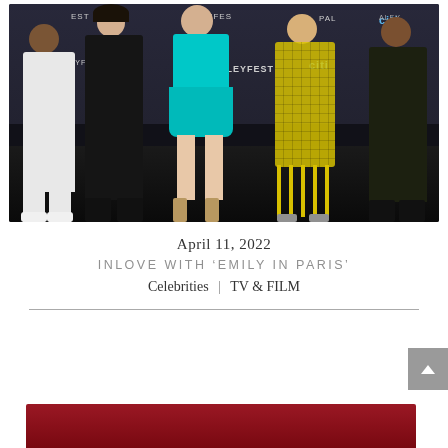[Figure (photo): Group photo of five people posing at a PaleyFest event. From left: a man in white outfit, a woman in black, a woman in teal/cyan layered dress, a woman in yellow net/fringe dress, and a man in dark outfit. Citi and PaleyFest banners visible in background.]
April 11, 2022
INLOVE WITH ‘EMILY IN PARIS’
Celebrities | TV & FILM